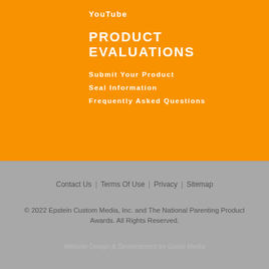YouTube
PRODUCT EVALUATIONS
Submit Your Product
Seal Information
Frequently Asked Questions
Contact Us | Terms Of Use | Privacy | Sitemap
© 2022 Epstein Custom Media, Inc. and The National Parenting Product Awards. All Rights Reserved.
Website Design & Development by Guido Media